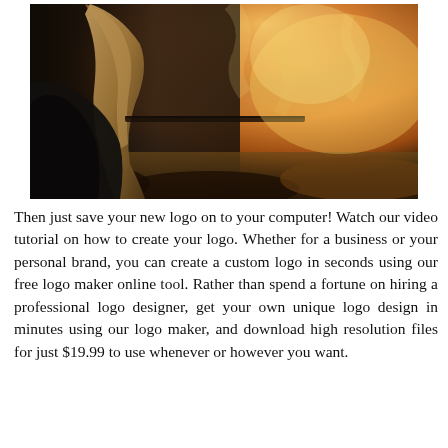[Figure (photo): A photo of a person with long light hair seen from behind, wearing a dark jacket, with a bright warm fiery/smoky background in golden and amber tones. A dark horizontal bar (possibly a railing or rifle) is visible in the middle distance.]
Then just save your new logo on to your computer! Watch our video tutorial on how to create your logo. Whether for a business or your personal brand, you can create a custom logo in seconds using our free logo maker online tool. Rather than spend a fortune on hiring a professional logo designer, get your own unique logo design in minutes using our logo maker, and download high resolution files for just $19.99 to use whenever or however you want.